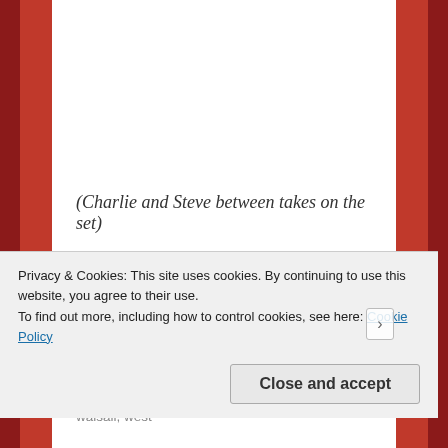(Charlie and Steve between takes on the set)
Standard | Posted in Uncategorized | Tagged 1980s, AIDS, FILM, gay, hospital, independent film, lgbt, LGBTQ, movie, Nurse, short film, UK, walsall, west
Privacy & Cookies: This site uses cookies. By continuing to use this website, you agree to their use.
To find out more, including how to control cookies, see here: Cookie Policy
Close and accept